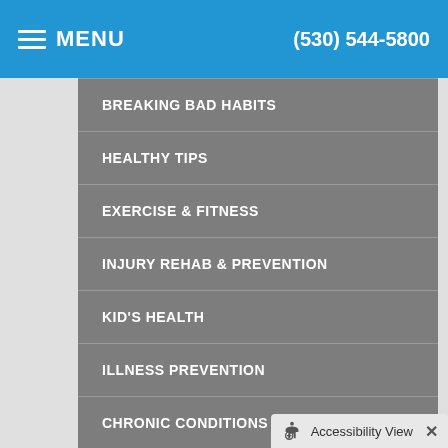MENU  (530) 544-5800
BREAKING BAD HABITS
HEALTHY TIPS
EXERCISE & FITNESS
INJURY REHAB & PREVENTION
KID'S HEALTH
ILLNESS PREVENTION
CHRONIC CONDITIONS
NUTRITION & HEALTHY EATING